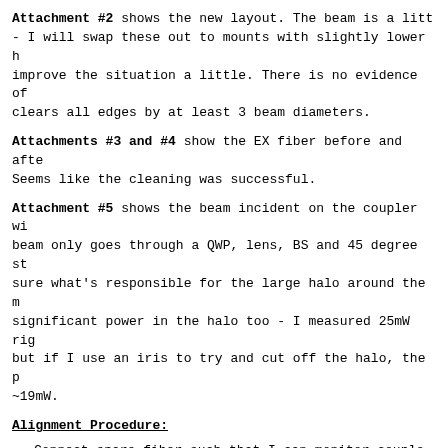Attachment #2 shows the new layout. The beam is a litt - I will swap these out to mounts with slightly lower h improve the situation a little. There is no evidence of clears all edges by at least 3 beam diameters.
Attachments #3 and #4 show the EX fiber before and afte Seems like the cleaning was successful.
Attachment #5 shows the beam incident on the coupler wi beam only goes through a QWP, lens, BS and 45 degree st sure what's responsible for the large halo around the m significant power in the halo too - I measured 25mW rig but if I use an iris to try and cut off the halo, the p ~19mW.
Alignment Procedure:
Connect spare fiber such that I can monitor couple losses and joint loss) at EX table.
Use Fluke fault analyzer to align input and collim
Monitored coupled power continuously using Fiber P calculations were made with Ophir, this was more c viewing).
Tweaked one available steering mirror and K6XS axe power.
Tweaked lens positions slightly to see if signific made.
After optimizing, I measured 17.1mW coming out of table. As mentioned earlier, the input power is tr large amount of junk light around the main mode. B